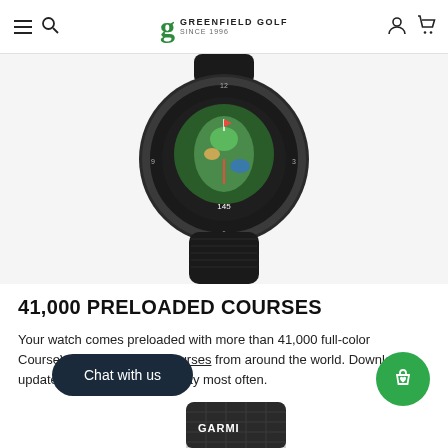Greenfield Golf — Since 1996 — navigation header with hamburger, search, account, and cart icons
[Figure (photo): Close-up top-down view of a black Garmin golf GPS smartwatch showing a green golf course hole view on the display, with black rubber strap]
41,000 PRELOADED COURSES
Your watch comes preloaded with more than 41,000 full-color CourseView maps of golf courses from around the world. Download updates for the course you play most often.
[Figure (photo): Partial bottom view of a black Garmin device with textured casing, partially visible at the bottom of the page]
Chat with us